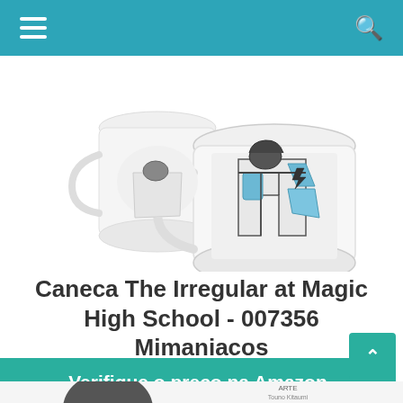[Figure (photo): Photo of two anime-themed mugs (Caneca The Irregular at Magic High School) showing character artwork in grey, blue and white colors on white ceramic mugs]
Caneca The Irregular at Magic High School - 007356 Mimaniacos
Verifique o preço na Amazon
Amazon.com.br
[Figure (photo): Partial view of another product at the bottom of the page with text 'ARTE' and 'Touno Kitaumi' visible]